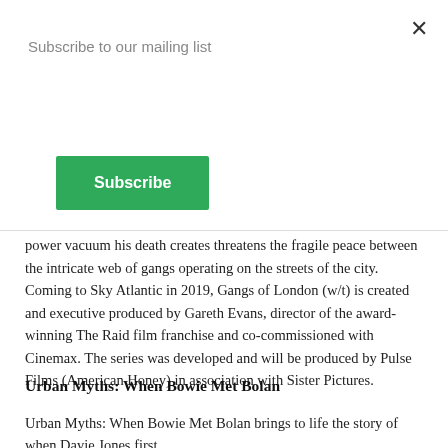Subscribe to our mailing list
Subscribe
the head of a criminal organisation is assassinated, the sudden power vacuum his death creates threatens the fragile peace between the intricate web of gangs operating on the streets of the city. Coming to Sky Atlantic in 2019, Gangs of London (w/t) is created and executive produced by Gareth Evans, director of the award-winning The Raid film franchise and co-commissioned with Cinemax. The series was developed and will be produced by Pulse Films (American Honey) in association with Sister Pictures.
Urban Myths: When Bowie Met Bolan
Urban Myths: When Bowie Met Bolan brings to life the story of when Davie Jones first